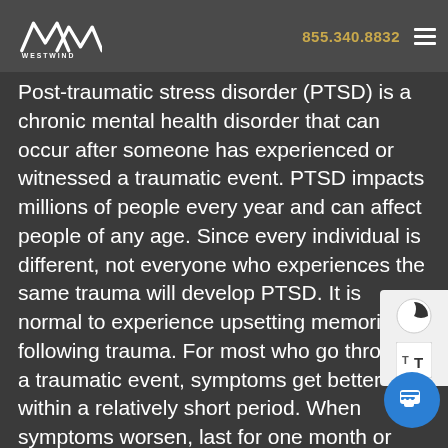855.340.8832
[Figure (logo): Westwind Recovery logo with stylized W/M waveform graphic and WESTWIND text below]
Post-traumatic stress disorder (PTSD) is a chronic mental health disorder that can occur after someone has experienced or witnessed a traumatic event. PTSD impacts millions of people every year and can affect people of any age. Since every individual is different, not everyone who experiences the same trauma will develop PTSD. It is normal to experience upsetting memories following trauma. For most who go through a traumatic event, symptoms get better within a relatively short period. When symptoms worsen, last for one month or longer, and interfere with daily functioning, it can indicate PTSD. If this describes you or a loved one, a trauma therapy program can help you find relief from your symptoms.
At Westwind Recovery®, we know that people often need help recovering from the negative impacts of trauma, including addiction. To learn more about the